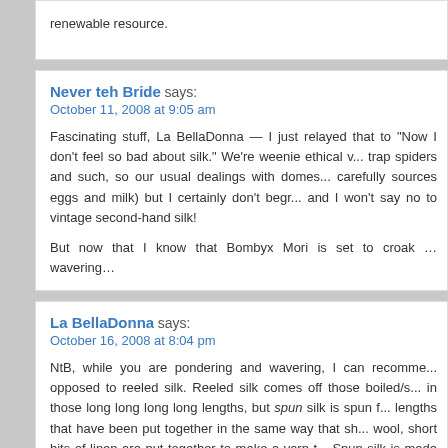renewable resource.
Never teh Bride says:
October 11, 2008 at 9:05 am

Fascinating stuff, La BellaDonna — I just relayed that to "Now I don't feel so bad about silk." We're weenie ethical v... trap spiders and such, so our usual dealings with domes... carefully sources eggs and milk) but I certainly don't begr... and I won't say no to vintage second-hand silk!

But now that I know that Bombyx Mori is set to croak ... wavering…
La BellaDonna says:
October 16, 2008 at 8:04 pm

NtB, while you are pondering and wavering, I can recomme... opposed to reeled silk. Reeled silk comes off those boiled/s... in those long long long long lengths, but spun silk is spun f... lengths that have been put together in the same way that sh... wool, short bits of linen are put together to make a yarn t... Spun silk is made up of waste bits of fiber, but also from t... when the moth hatches and escapes (and mates. and dies... that do just that, regularly, including certain wild silks. Silk m... silk" (but really isn't), is a spun silk. It's not flat and shiny, it'... lot of the comfort of reeled silks – holds color beautifully...